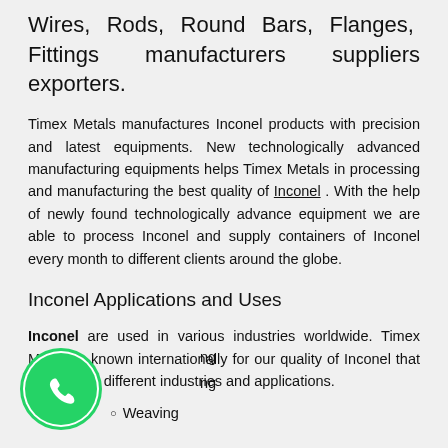Wires, Rods, Round Bars, Flanges, Fittings manufacturers suppliers exporters.
Timex Metals manufactures Inconel products with precision and latest equipments. New technologically advanced manufacturing equipments helps Timex Metals in processing and manufacturing the best quality of Inconel . With the help of newly found technologically advance equipment we are able to process Inconel and supply containers of Inconel every month to different clients around the globe.
Inconel Applications and Uses
Inconel are used in various industries worldwide. Timex Metals is known internationally for our quality of Inconel that are used in different industries and applications.
[Figure (logo): WhatsApp logo icon — green circle with white phone handset]
ng
ng
Weaving